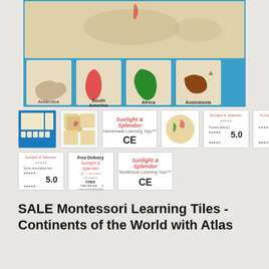[Figure (photo): Wooden Montessori continent tiles on blue background: Antarctica, South America, Africa, Australasia each labeled on individual wooden tiles]
[Figure (photo): Row of product thumbnail images showing various views of the Montessori learning tiles set, CE marks, ratings, free delivery info]
SALE Montessori Learning Tiles - Continents of the World with Atlas